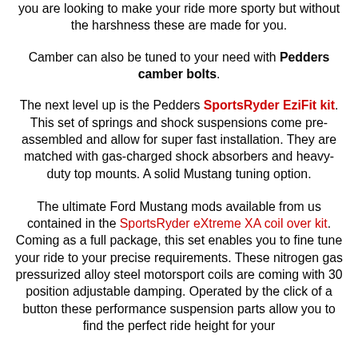you are looking to make your ride more sporty but without the harshness these are made for you.
Camber can also be tuned to your need with Pedders camber bolts.
The next level up is the Pedders SportsRyder EziFit kit. This set of springs and shock suspensions come pre-assembled and allow for super fast installation. They are matched with gas-charged shock absorbers and heavy-duty top mounts. A solid Mustang tuning option.
The ultimate Ford Mustang mods available from us contained in the SportsRyder eXtreme XA coil over kit. Coming as a full package, this set enables you to fine tune your ride to your precise requirements. These nitrogen gas pressurized alloy steel motorsport coils are coming with 30 position adjustable damping. Operated by the click of a button these performance suspension parts allow you to find the perfect ride height for your